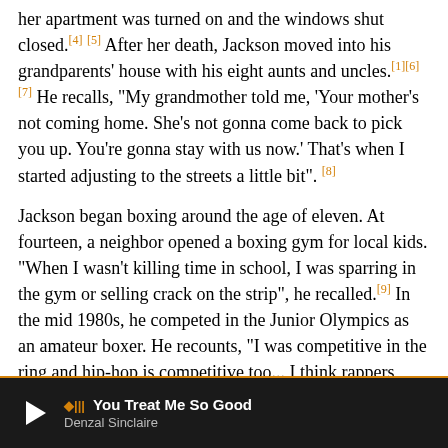her apartment was turned on and the windows shut closed.[4] [5] After her death, Jackson moved into his grandparents' house with his eight aunts and uncles.[1][6][7] He recalls, "My grandmother told me, 'Your mother's not coming home. She's not gonna come back to pick you up. You're gonna stay with us now.' That's when I started adjusting to the streets a little bit".[8]
Jackson began boxing around the age of eleven. At fourteen, a neighbor opened a boxing gym for local kids. "When I wasn't killing time in school, I was sparring in the gym or selling crack on the strip", he recalled.[9] In the mid 1980s, he competed in the Junior Olympics as an amateur boxer. He recounts, "I was competitive in the ring and hip-hop is competitive too... I think rappers condition themselves like boxers, so they all kind of feel like they're the champ".[10] At the age of twelve, Jackson began dealing narcotics when his grandparents thought he
You Treat Me So Good — Denzal Sinclaire